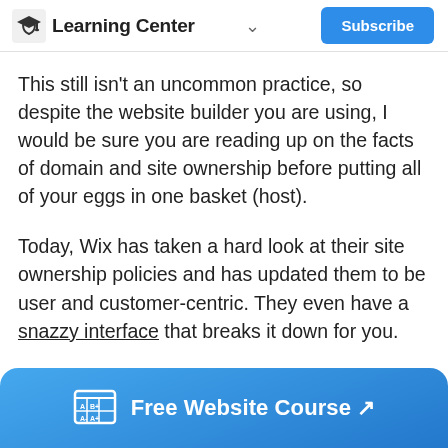Learning Center
This still isn't an uncommon practice, so despite the website builder you are using, I would be sure you are reading up on the facts of domain and site ownership before putting all of your eggs in one basket (host).
Today, Wix has taken a hard look at their site ownership policies and has updated them to be user and customer-centric. They even have a snazzy interface that breaks it down for you.
The platform has now taken a clear stance on site
Free Website Course ↗